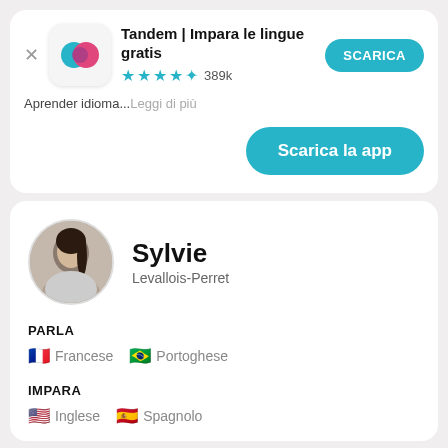[Figure (screenshot): Tandem app advertisement card with app icon (teal and pink circles logo), app title 'Tandem | Impara le lingue gratis', star rating 4.5 stars with 389k reviews, SCARICA button, description text 'Aprender idioma...Leggi di più', and a 'Scarica la app' teal button.]
Aprender idioma...Leggi di più
[Figure (screenshot): User profile card for Sylvie from Levallois-Perret, showing PARLA section with French and Portuguese flags, and IMPARA section with USA and Spanish flags.]
Sylvie
Levallois-Perret
PARLA
Francese   Portoghese
IMPARA
Inglese   Spagnolo